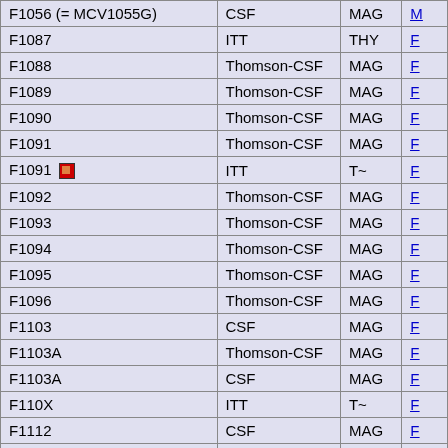| ID | Manufacturer | Type | Link |
| --- | --- | --- | --- |
| F1056 (= MCV1055G) | CSF | MAG | M |
| F1087 | ITT | THY | F |
| F1088 | Thomson-CSF | MAG | F |
| F1089 | Thomson-CSF | MAG | F |
| F1090 | Thomson-CSF | MAG | F |
| F1091 | Thomson-CSF | MAG | F |
| F1091 [icon] | ITT | T~ | F |
| F1092 | Thomson-CSF | MAG | F |
| F1093 | Thomson-CSF | MAG | F |
| F1094 | Thomson-CSF | MAG | F |
| F1095 | Thomson-CSF | MAG | F |
| F1096 | Thomson-CSF | MAG | F |
| F1103 | CSF | MAG | F |
| F1103A | Thomson-CSF | MAG | F |
| F1103A | CSF | MAG | F |
| F110X | ITT | T~ | F |
| F1112 | CSF | MAG | F |
| F111X | CSF | MAG |  |